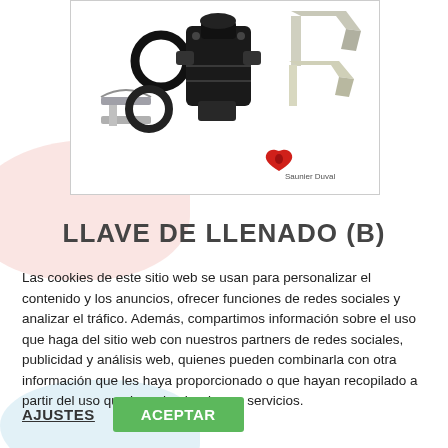[Figure (photo): Product photo showing Saunier Duval filling key (llave de llenado) parts: black plastic valve body, two O-rings, and two metal clips/brackets, on white background. Saunier Duval logo in bottom right corner.]
LLAVE DE LLENADO (B)
Las cookies de este sitio web se usan para personalizar el contenido y los anuncios, ofrecer funciones de redes sociales y analizar el tráfico. Además, compartimos información sobre el uso que haga del sitio web con nuestros partners de redes sociales, publicidad y análisis web, quienes pueden combinarla con otra información que les haya proporcionado o que hayan recopilado a partir del uso que haya hecho de sus servicios.
AJUSTES
ACEPTAR